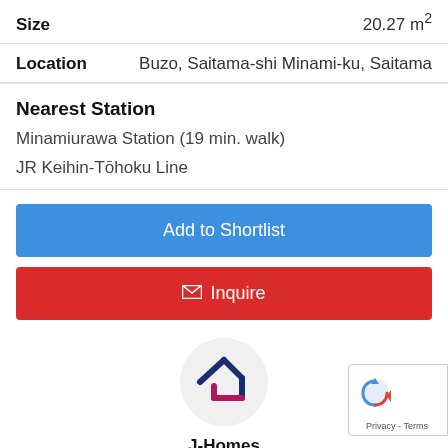| Field | Value |
| --- | --- |
| Size | 20.27 m² |
| Location | Buzo, Saitama-shi Minami-ku, Saitama |
Nearest Station
Minamiurawa Station (19 min. walk)
JR Keihin-Tōhoku Line
Add to Shortlist
Inquire
[Figure (logo): J-Homes logo: house icon in dark blue and dark red/pink on a light grey circular background]
J-Homes